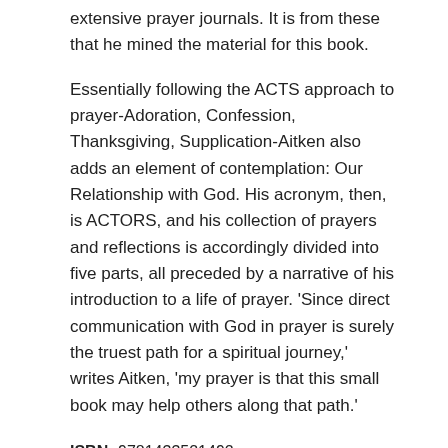extensive prayer journals. It is from these that he mined the material for this book.
Essentially following the ACTS approach to prayer-Adoration, Confession, Thanksgiving, Supplication-Aitken also adds an element of contemplation: Our Relationship with God. His acronym, then, is ACTORS, and his collection of prayers and reflections is accordingly divided into five parts, all preceded by a narrative of his introduction to a life of prayer. 'Since direct communication with God in prayer is surely the truest path for a spiritual journey,' writes Aitken, 'my prayer is that this small book may help others along that path.'
ISBN: 9781433521492
You might also like...